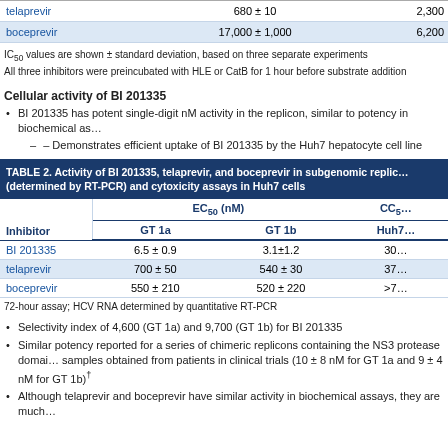|  | IC₅₀ (nM) | 2,300 |
| --- | --- | --- |
| telaprevir | 680 ± 10 | 2,300 |
| boceprevir | 17,000 ± 1,000 | 6,200 |
IC₅₀ values are shown ± standard deviation, based on three separate experiments
All three inhibitors were preincubated with HLE or CatB for 1 hour before substrate addition
Cellular activity of BI 201335
BI 201335 has potent single-digit nM activity in the replicon, similar to potency in biochemical as…
– Demonstrates efficient uptake of BI 201335 by the Huh7 hepatocyte cell line
| Inhibitor | GT 1a | GT 1b | Huh7 |
| --- | --- | --- | --- |
| BI 201335 | 6.5 ± 0.9 | 3.1±1.2 | 30 |
| telaprevir | 700 ± 50 | 540 ± 30 | 37 |
| boceprevir | 550 ± 210 | 520 ± 220 | >7 |
TABLE 2. Activity of BI 201335, telaprevir, and boceprevir in subgenomic replicon (determined by RT-PCR) and cytoxicity assays in Huh7 cells
72-hour assay; HCV RNA determined by quantitative RT-PCR
Selectivity index of 4,600 (GT 1a) and 9,700 (GT 1b) for BI 201335
Similar potency reported for a series of chimeric replicons containing the NS3 protease domain… samples obtained from patients in clinical trials (10 ± 8 nM for GT 1a and 9 ± 4 nM for GT 1b)
Although telaprevir and boceprevir have similar activity in biochemical assays, they are much…